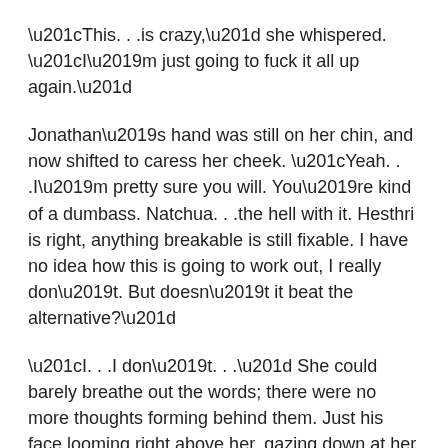“This. . .is crazy,” she whispered. “I’m just going to fuck it all up again.”
Jonathan’s hand was still on her chin, and now shifted to caress her cheek. “Yeah. . .I’m pretty sure you will. You’re kind of a dumbass. Natchua. . .the hell with it. Hesthri is right, anything breakable is still fixable. I have no idea how this is going to work out, I really don’t. But doesn’t it beat the alternative?”
“I. . .I don’t. . .” She could barely breathe out the words; there were no more thoughts forming behind them. Just his face looming right above her, gazing down at her with that gentle expression she had fully expected never to hear again. Everything inside her was cracking under the weight of it.
Hesthri shifted to position herself between them,